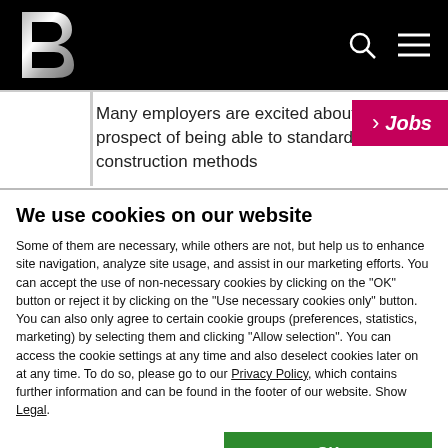Navigation bar with logo B, search icon, and menu icon
Many employers are excited about the prospect of being able to standardize construction methods
[Figure (screenshot): Jobs ribbon/tab in pink/magenta color with arrow symbol]
We use cookies on our website
Some of them are necessary, while others are not, but help us to enhance site navigation, analyze site usage, and assist in our marketing efforts. You can accept the use of non-necessary cookies by clicking on the "OK" button or reject it by clicking on the "Use necessary cookies only" button. You can also only agree to certain cookie groups (preferences, statistics, marketing) by selecting them and clicking "Allow selection". You can access the cookie settings at any time and also deselect cookies later on at any time. To do so, please go to our Privacy Policy, which contains further information and can be found in the footer of our website. Show Legal.
OK
Allow selection
Use necessary cookies only
Necessary  Preferences  Statistics  Marketing  Show details